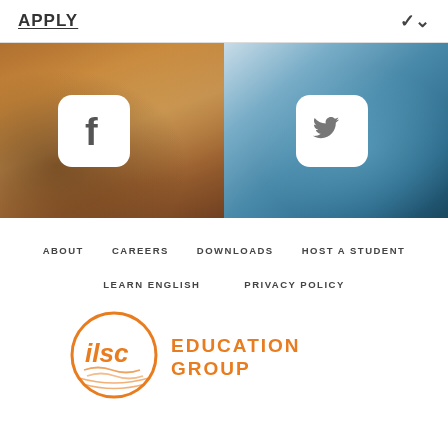APPLY
[Figure (photo): Two-panel social media banner. Left panel: photo of smiling students with Facebook logo icon overlay. Right panel: abstract blue floral/dandelion photo with Twitter bird logo icon overlay.]
ABOUT
CAREERS
DOWNLOADS
HOST A STUDENT
LEARN ENGLISH
PRIVACY POLICY
[Figure (logo): ILSC Education Group logo: orange circle with 'ilsc' text and wave lines, next to orange uppercase text 'EDUCATION GROUP']